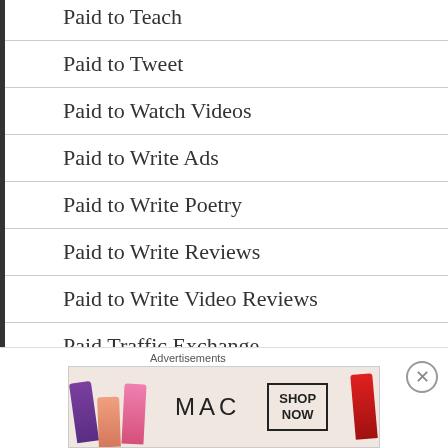Paid to Teach
Paid to Tweet
Paid to Watch Videos
Paid to Write Ads
Paid to Write Poetry
Paid to Write Reviews
Paid to Write Video Reviews
Paid Traffic Exchange
[Figure (other): MAC Cosmetics advertisement showing lipsticks with 'SHOP NOW' button]
Advertisements